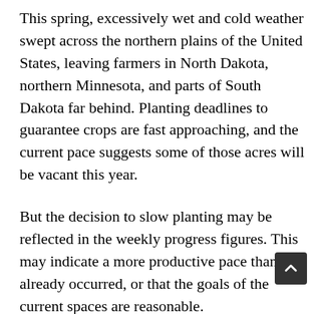This spring, excessively wet and cold weather swept across the northern plains of the United States, leaving farmers in North Dakota, northern Minnesota, and parts of South Dakota far behind. Planting deadlines to guarantee crops are fast approaching, and the current pace suggests some of those acres will be vacant this year.
But the decision to slow planting may be reflected in the weekly progress figures. This may indicate a more productive pace than has already occurred, or that the goals of the current spaces are reasonable.
The US Department of Agriculture's Statistics Service (NASS) publishes weekly reports on national crop progress from April through November. Crop progress estimates are obtained from local agricultural experts,